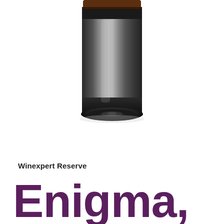[Figure (photo): Bottom portion of a dark/black wine bottle viewed from a slightly elevated angle. The bottle bottom shows the punt and base with a dark brownish-red capsule visible at the top edge. The bottle body is a very dark green/black glass.]
Winexpert Reserve
Enigma,